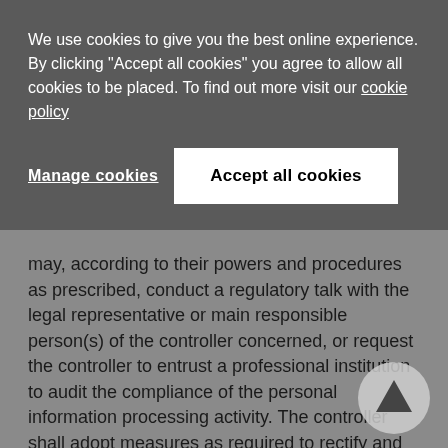We use cookies to give you the best online experience. By clicking "Accept all cookies" you agree to allow all cookies to be placed. To find out more visit our cookie policy
Manage cookies
Accept all cookies
may, according to their powers and procedures as prescribed, conduct a regulatory talk with the legal representative or main responsible person(s) of the controller concerned, or request the controller to entrust a professional institution to audit the compliance of the personal information processing activity. The controller shall adopt measures as required to rectify and eliminate any hazard discovered.